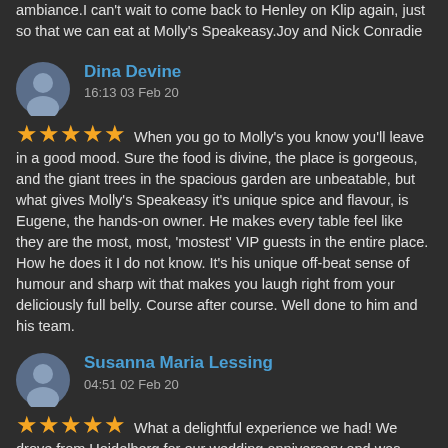ambiance.I can't wait to come back to Henley on Klip again, just so that we can eat at Molly's Speakeasy.Joy and Nick Conradie
Dina Devine
16:13 03 Feb 20
★★★★★ When you go to Molly's you know you'll leave in a good mood. Sure the food is divine, the place is gorgeous, and the giant trees in the spacious garden are unbeatable, but what gives Molly's Speakeasy it's unique spice and flavour, is Eugene, the hands-on owner. He makes every table feel like they are the most, most, 'mostest' VIP guests in the entire place. How he does it I do not know. It's his unique off-beat sense of humour and sharp wit that makes you laugh right from your deliciously full belly. Course after course. Well done to him and his team.
Susanna Maria Lessing
04:51 02 Feb 20
★★★★★ What a delightful experience we had! We drove from Heidelberg for our wedding anniversary and was pleasantly surprised with the gem that we